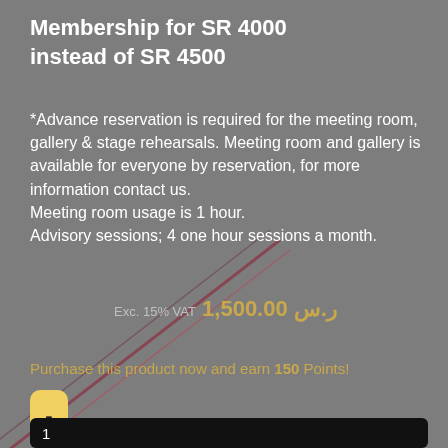Membership for SR 4000
instead of SR 4500
*Advance reservation is required for the meeting room, gallery & stage rehearsals. Meeting room and gallery is available for everyone by reservation, for more information contact us. Meeting room usage is 1 hour. Advisory sessions; 4 one hour sessions a month.
ر.س 1,500.00 Exc. 15% VAT
Purchase this product now and earn 150 Points!